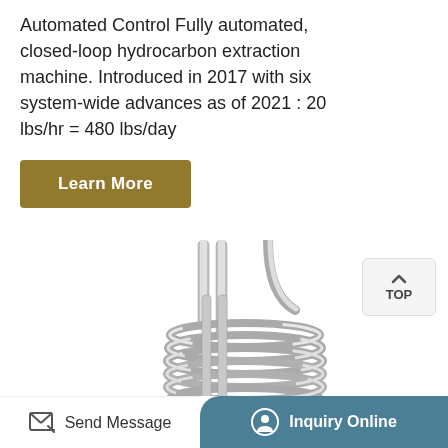Automated Control Fully automated, closed-loop hydrocarbon extraction machine. Introduced in 2017 with six system-wide advances as of 2021 : 20 lbs/hr = 480 lbs/day
Learn More
[Figure (photo): A stainless steel helical coil heat exchanger or cooling coil component with multiple vertical tubes extending from the top of a tightly wound spiral coil structure.]
Send Message
Inquiry Online